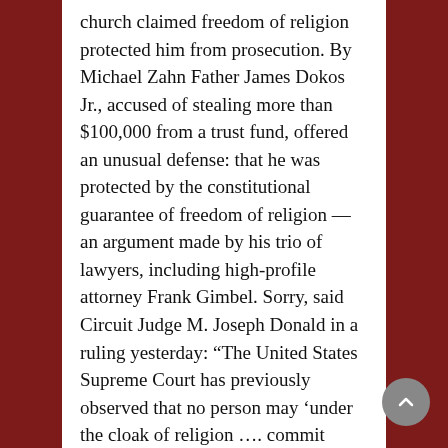church claimed freedom of religion protected him from prosecution. By Michael Zahn Father James Dokos Jr., accused of stealing more than $100,000 from a trust fund, offered an unusual defense: that he was protected by the constitutional guarantee of freedom of religion — an argument made by his trio of lawyers, including high-profile attorney Frank Gimbel. Sorry, said Circuit Judge M. Joseph Donald in a ruling yesterday: “The United States Supreme Court has previously observed that no person may ‘under the cloak of religion …. commit frauds upon the public.’” So...
READ MORE